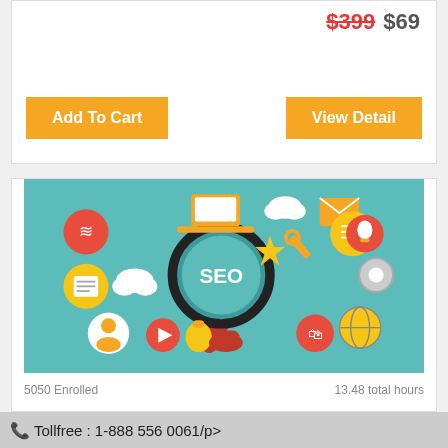$399 $69
Add To Cart
View Detail
[Figure (illustration): SEO and Social Media Marketing concept illustration: a hand holding a magnifying glass with 'SEO' text, surrounded by icons for laptop, email, cloud, WiFi, settings, lightbulb, globe, document, shopping, and other digital marketing elements on a teal background]
5050 Enrolled
13.48 total hours
SEO I Social Media Marketing Strategy Course
Tollfree : 1-888 556 0061/p>